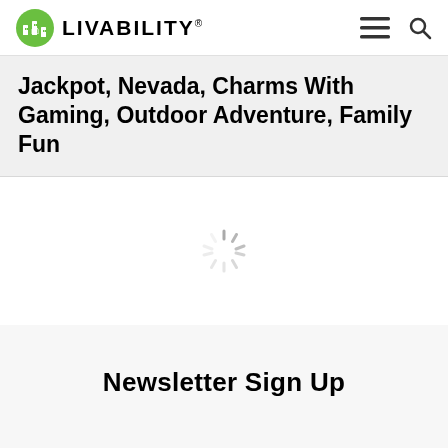LIVABILITY®
Jackpot, Nevada, Charms With Gaming, Outdoor Adventure, Family Fun
[Figure (other): Loading spinner / activity indicator — circular spokes in light grey]
Newsletter Sign Up